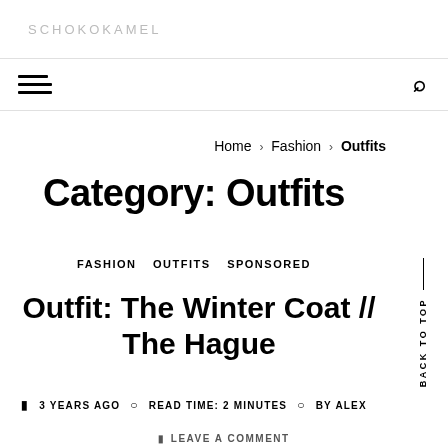SCHOKOKAMEL
Home › Fashion › Outfits
Category: Outfits
FASHION  OUTFITS  SPONSORED
Outfit: The Winter Coat // The Hague
3 YEARS AGO   READ TIME: 2 MINUTES   BY ALEX
LEAVE A COMMENT
BACK TO TOP